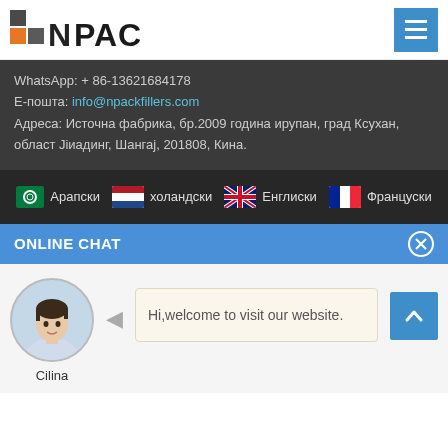[Figure (logo): N PACK logo with orange and dark square icons and bold dark text]
WhatsApp: + 86-13621684178
Е-пошта: info@npackfillers.com
Адреса: Источна фабрика, бр.2009 година ирупан, град Ксухан, област Jiиадинг, Шангај, 201808, Кина.
🌿 Арапски   🇳🇱 холандски   🇬🇧 Енглиски   🇫🇷 Француски
ONLINE CHAT
Hi,welcome to visit our website.
Cilina